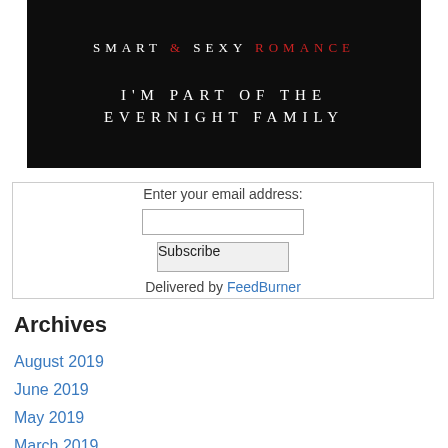[Figure (illustration): Dark banner image with text: SMART & SEXY ROMANCE (top, white and red lettering) and I'M PART OF THE EVERNIGHT FAMILY (center, white lettering on black background)]
Enter your email address:
Subscribe
Delivered by FeedBurner
Archives
August 2019
June 2019
May 2019
March 2019
December 2018